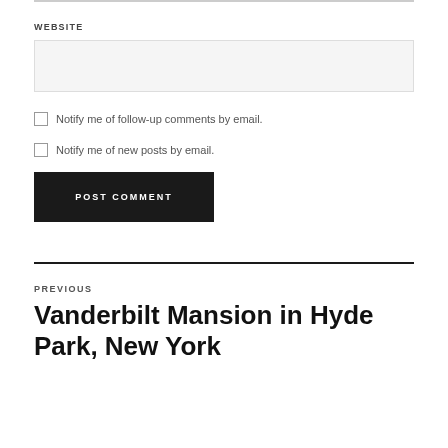WEBSITE
[Figure (other): Empty website URL input field with light gray background]
Notify me of follow-up comments by email.
Notify me of new posts by email.
POST COMMENT
PREVIOUS
Vanderbilt Mansion in Hyde Park, New York